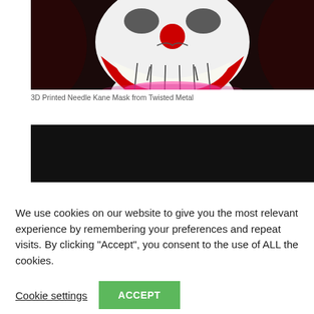[Figure (photo): Close-up photo of a 3D printed Needle Kane clown mask from Twisted Metal, showing a white face with large red-outlined grinning mouth with teeth, red nose, and pink glowing light at the neck, on a dark background.]
3D Printed Needle Kane Mask from Twisted Metal
[Figure (photo): Partially visible dark/black image, likely the lower portion of another photo, mostly black background.]
We use cookies on our website to give you the most relevant experience by remembering your preferences and repeat visits. By clicking “Accept”, you consent to the use of ALL the cookies.
Cookie settings   ACCEPT